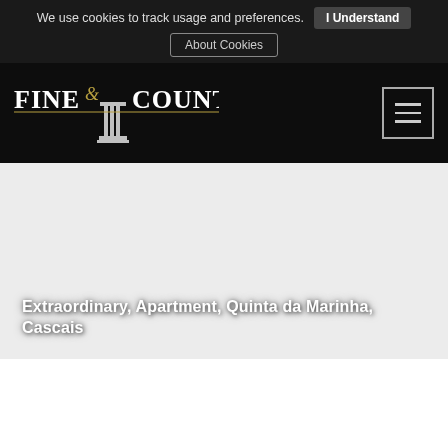We use cookies to track usage and preferences. I Understand  About Cookies
[Figure (logo): Fine & Country logo with column icon on black navigation bar with hamburger menu button]
[Figure (photo): Light grey/empty main content area]
Extraordinary, Apartment, Quinta da Marinha, Cascais